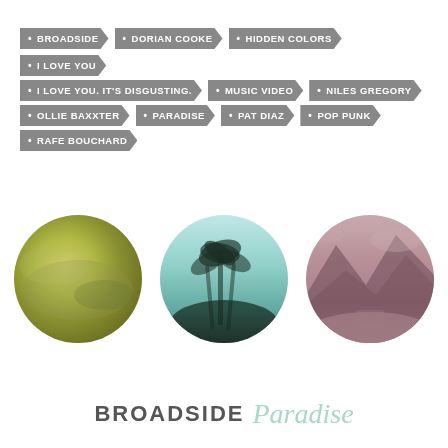BROADSIDE
DORIAN COOKE
HIDDEN COLORS
I LOVE YOU
I LOVE YOU. IT'S DISGUSTING.
MUSIC VIDEO
NILES GREGORY
OLLIE BAXXTER
PARADISE
PAT DIAZ
POP PUNK
RAFE BOUCHARD
[Figure (illustration): Three circular images side by side: left circle shows yellow-green ocean texture, middle circle shows teal-tinted palm trees against sky, right circle shows pink-mauve mountains with water]
BROADSIDE Paradise